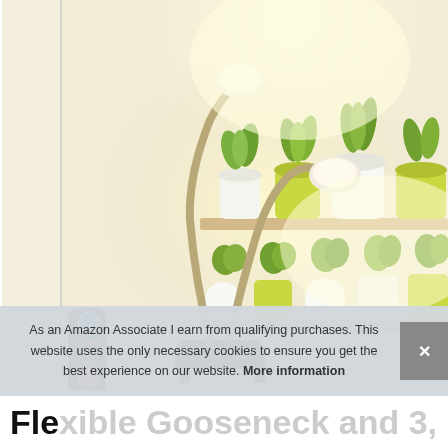[Figure (photo): A dual-head grow light lamp with flexible gooseneck arms and a clamp base, illuminating two shelves of potted green plants (herbs and small plants in white, yellow, and green pots). A black remote control with a blue power button is shown on the left side of the lamp.]
As an Amazon Associate I earn from qualifying purchases. This website uses the only necessary cookies to ensure you get the best experience on our website. More information
Flexible Gooseneck and 3, 12, 15H...